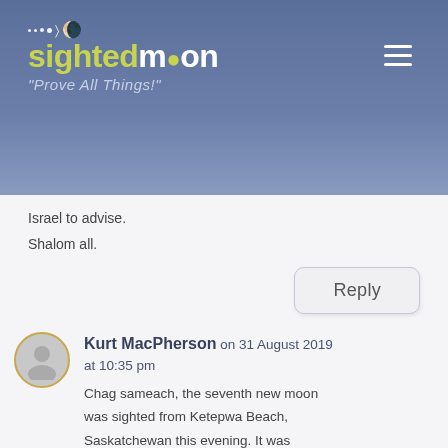sightedmoon — Prove All Things!
Israel to advise.
Shalom all.
Reply
Kurt MacPherson on 31 August 2019 at 10:35 pm
Chag sameach, the seventh new moon was sighted from Ketepwa Beach, Saskatchewan this evening. It was another special sighting as there was only a small window in the cloud cover where it could possibly be seen and when